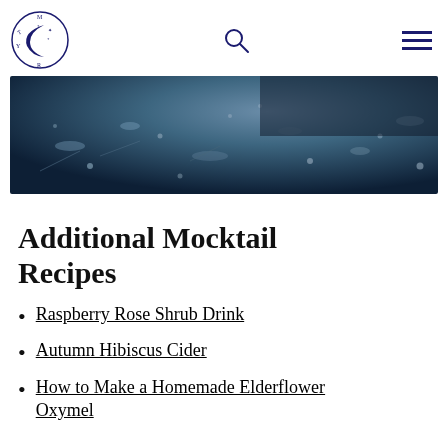Navigation header with logo, search icon, and hamburger menu
[Figure (photo): Aerial or close-up photo with dark blue-teal tones showing a textured surface with small scattered objects, likely a nature or water scene]
Additional Mocktail Recipes
Raspberry Rose Shrub Drink
Autumn Hibiscus Cider
How to Make a Homemade Elderflower Oxymel